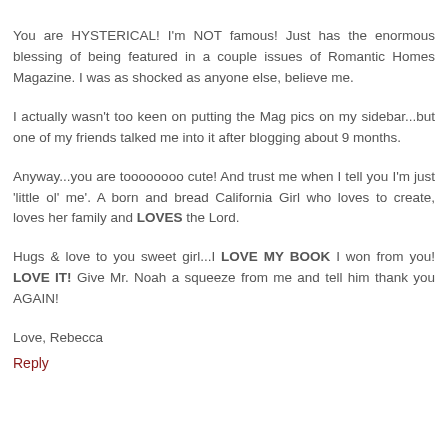You are HYSTERICAL! I'm NOT famous! Just has the enormous blessing of being featured in a couple issues of Romantic Homes Magazine. I was as shocked as anyone else, believe me.
I actually wasn't too keen on putting the Mag pics on my sidebar...but one of my friends talked me into it after blogging about 9 months.
Anyway...you are toooooooo cute! And trust me when I tell you I'm just 'little ol' me'. A born and bread California Girl who loves to create, loves her family and LOVES the Lord.
Hugs & love to you sweet girl...I LOVE MY BOOK I won from you! LOVE IT! Give Mr. Noah a squeeze from me and tell him thank you AGAIN!
Love, Rebecca
Reply